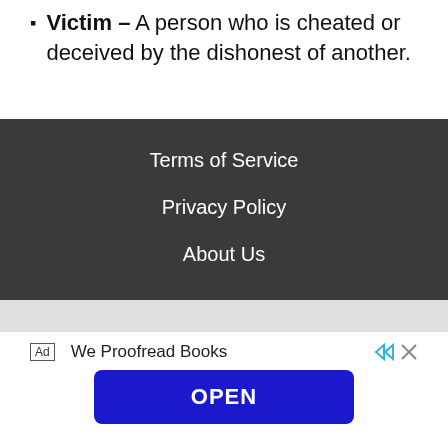Victim – A person who is cheated or deceived by the dishonest of another.
Terms of Service
Privacy Policy
About Us
Ad   We Proofread Books   OPEN